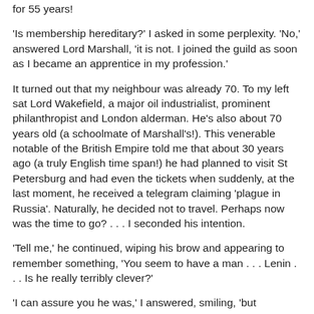for 55 years!
'Is membership hereditary?' I asked in some perplexity. 'No,' answered Lord Marshall, 'it is not. I joined the guild as soon as I became an apprentice in my profession.'
It turned out that my neighbour was already 70. To my left sat Lord Wakefield, a major oil industrialist, prominent philanthropist and London alderman. He's also about 70 years old (a schoolmate of Marshall's!). This venerable notable of the British Empire told me that about 30 years ago (a truly English time span!) he had planned to visit St Petersburg and had even the tickets when suddenly, at the last moment, he received a telegram claiming 'plague in Russia'. Naturally, he decided not to travel. Perhaps now was the time to go? . . . I seconded his intention.
'Tell me,' he continued, wiping his brow and appearing to remember something, 'You seem to have a man . . . Lenin . . . Is he really terribly clever?'
'I can assure you he was,' I answered, smiling, 'but